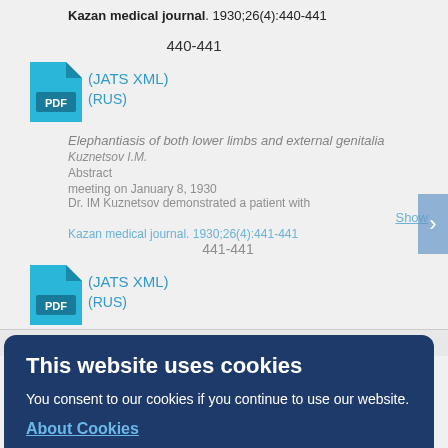Kazan medical journal. 1930;26(4):440-441
440-441
[Figure (other): PDF file icon in teal/blue color]
(JATS XML)
(RUS)
Elephantiasis of both lower limbs and external genitalia
Kuznetsov I.M.
Abstract
meeting on January 8, 1930
Dr. IM Kuznetsov demonstrated a patient with
Show
Kazan medical journal. 1930;26(4):441-441
441-441
[Figure (other): PDF file icon in teal/blue color]
(JATS XML)
(RUS)
Cyclopia due to abnormalities of other organs
This website uses cookies
You consent to our cookies if you continue to use our website.
About Cookies
OK